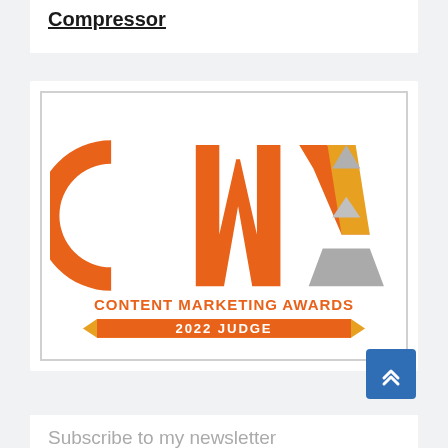Compressor
[Figure (logo): Content Marketing Awards 2022 Judge badge logo with CMA letters in orange and gray, with orange banner reading '2022 JUDGE']
Subscribe to my newsletter